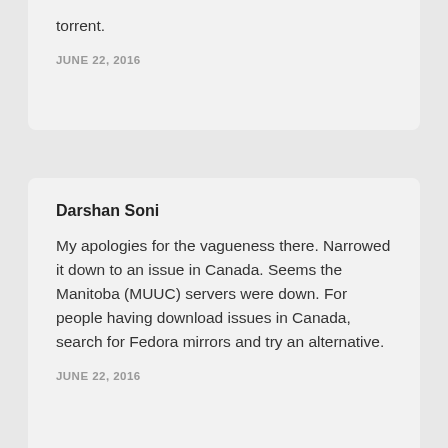torrent.
JUNE 22, 2016
Darshan Soni
My apologies for the vagueness there. Narrowed it down to an issue in Canada. Seems the Manitoba (MUUC) servers were down. For people having download issues in Canada, search for Fedora mirrors and try an alternative.
JUNE 22, 2016